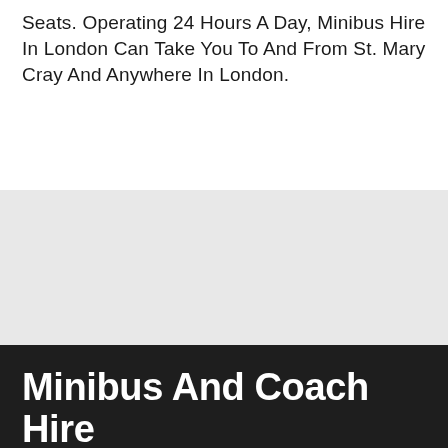Seats. Operating 24 Hours A Day, Minibus Hire In London Can Take You To And From St. Mary Cray And Anywhere In London.
Minibus And Coach Hire
CONTACT INFORMATION
iddlesex St, London E1 7EZ, London
020 3011 1228